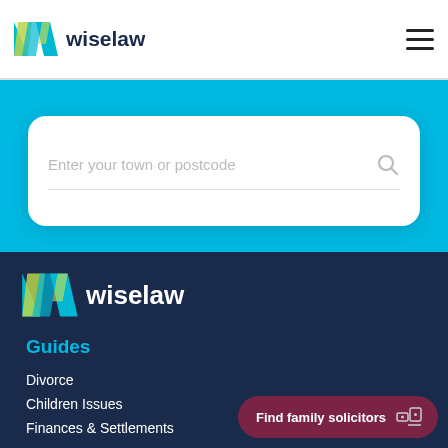[Figure (logo): Wiselaw logo with geometric W mark in teal, blue, and green colors, followed by the text 'wiselaw' in dark navy]
[Figure (screenshot): Hamburger menu icon (three horizontal lines) on top right of header]
[Figure (screenshot): Search box with placeholder text 'Enter your town or postcode' and a search icon on a white card over blue background]
[Figure (logo): Wiselaw footer logo with geometric W mark in teal, blue, and green colors on dark navy background, followed by 'wiselaw' in white]
Guides
Divorce
Children Issues
Finances & Settlements
[Figure (screenshot): Dark red/maroon pill-shaped button with text 'Find family solicitors' and a map/location icon]